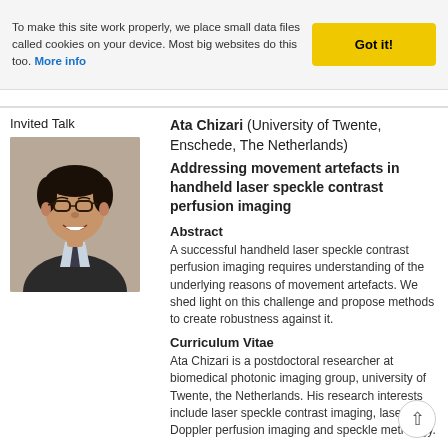To make this site work properly, we place small data files called cookies on your device. Most big websites do this too. More info
Invited Talk
[Figure (photo): Headshot portrait of Ata Chizari, a man with short dark hair, glasses, wearing a dark suit with a tie, smiling against a neutral background.]
Ata Chizari (University of Twente, Enschede, The Netherlands)
Addressing movement artefacts in handheld laser speckle contrast perfusion imaging
Abstract
A successful handheld laser speckle contrast perfusion imaging requires understanding of the underlying reasons of movement artefacts. We shed light on this challenge and propose methods to create robustness against it.
Curriculum Vitae
Ata Chizari is a postdoctoral researcher at biomedical photonic imaging group, university of Twente, the Netherlands. His research interests include laser speckle contrast imaging, laser Doppler perfusion imaging and speckle metrology.
Summary